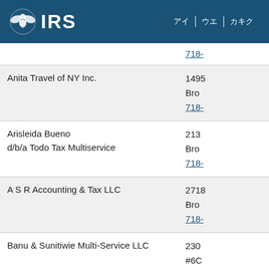IRS logo header with navigation
| Name | Address/Phone |
| --- | --- |
|  | 718- |
| Anita Travel of NY Inc. | 1495
Bro
718- |
| Arisleida Bueno
d/b/a Todo Tax Multiservice | 213
Bro
718- |
| A S R Accounting & Tax LLC | 2718
Bro
718- |
| Banu & Sunitiwie Multi-Service LLC | 230
#6C
Bro
347- |